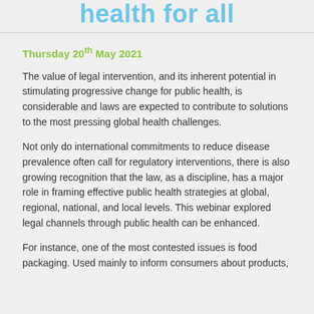health for all
Thursday 20th May 2021
The value of legal intervention, and its inherent potential in stimulating progressive change for public health, is considerable and laws are expected to contribute to solutions to the most pressing global health challenges.
Not only do international commitments to reduce disease prevalence often call for regulatory interventions, there is also growing recognition that the law, as a discipline, has a major role in framing effective public health strategies at global, regional, national, and local levels. This webinar explored legal channels through public health can be enhanced.
For instance, one of the most contested issues is food packaging. Used mainly to inform consumers about products,